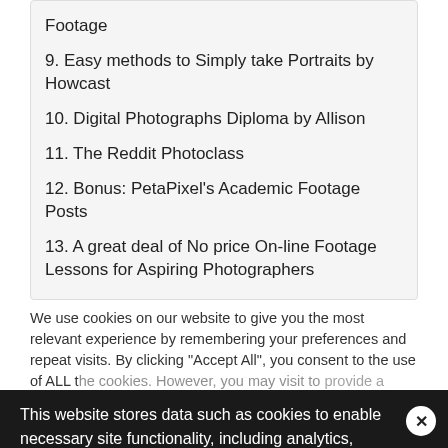Footage
9. Easy methods to Simply take Portraits by Howcast
10. Digital Photographs Diploma by Allison
11. The Reddit Photoclass
12. Bonus: PetaPixel’s Academic Footage Posts
13. A great deal of No price On-line Footage Lessons for Aspiring Photographers
We use cookies on our website to give you the most relevant experience by remembering your preferences and repeat visits. By clicking “Accept All”, you consent to the use of ALL the cookies. However, you may visit to provide a controlled consent.
This website stores data such as cookies to enable necessary site functionality, including analytics, targeting, and personalization. By remaining on this website you indicate your consent Cookie Policy